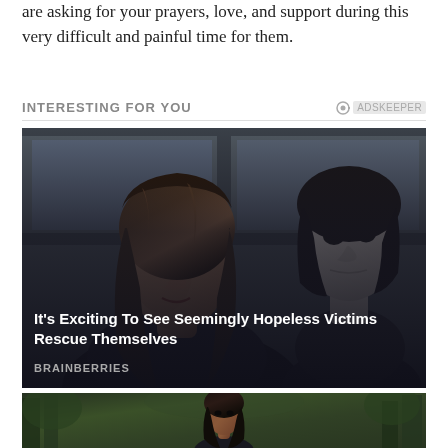are asking for your prayers, love, and support during this very difficult and painful time for them.
INTERESTING FOR YOU
[Figure (photo): Woman with long dark hair looking seriously at camera, with a white horror mask (Michael Myers) visible through a window behind her. Card overlay text: 'It's Exciting To See Seemingly Hopeless Victims Rescue Themselves' by BRAINBERRIES]
[Figure (photo): Partial view of a young Black woman standing outdoors with trees/forest in background]